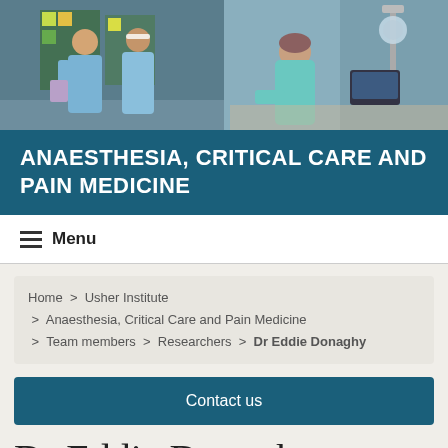[Figure (photo): Hero image showing medical staff in scrubs in a clinical environment, two panels side by side]
ANAESTHESIA, CRITICAL CARE AND PAIN MEDICINE
≡ Menu
Home > Usher Institute > Anaesthesia, Critical Care and Pain Medicine > Team members > Researchers > Dr Eddie Donaghy
Contact us
Dr Eddie Donaghy